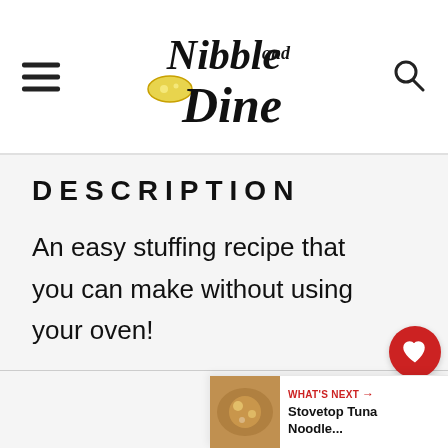Nibble and Dine
DESCRIPTION
An easy stuffing recipe that you can make without using your oven!
[Figure (infographic): Heart/like button with count 209 and share button on right sidebar]
WHAT'S NEXT → Stovetop Tuna Noodle...